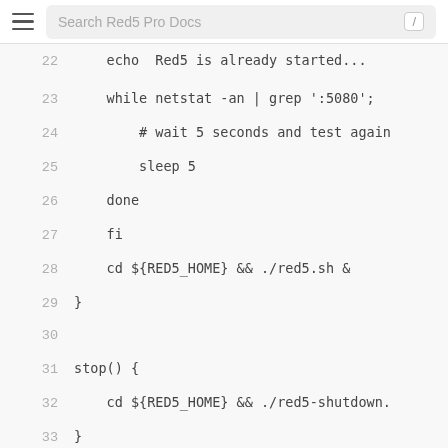Search Red5 Pro Docs
22  echo  Red5 is already started...
23      while netstat -an | grep ':5080';
24          # wait 5 seconds and test again
25          sleep 5
26      done
27      fi
28      cd ${RED5_HOME} && ./red5.sh &
29  }
30
31  stop() {
32      cd ${RED5_HOME} && ./red5-shutdown.
33  }
34
35  case "$1" in
36      start)
37          start
38          exit 1